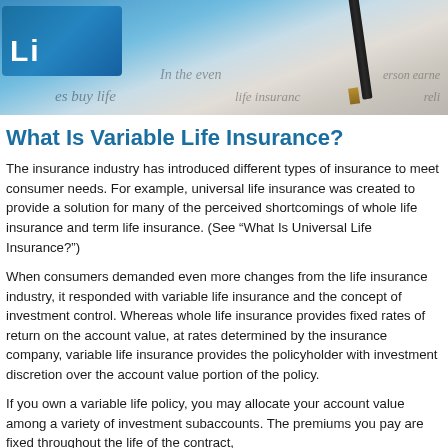[Figure (photo): Photo of a life insurance document with a pen resting on it, partially visible blue cover with white text, and printed policy text visible underneath.]
What Is Variable Life Insurance?
The insurance industry has introduced different types of insurance to meet consumer needs. For example, universal life insurance was created to provide a solution for many of the perceived shortcomings of whole life insurance and term life insurance. (See “What Is Universal Life Insurance?”)
When consumers demanded even more changes from the life insurance industry, it responded with variable life insurance and the concept of investment control. Whereas whole life insurance provides fixed rates of return on the account value, at rates determined by the insurance company, variable life insurance provides the policyholder with investment discretion over the account value portion of the policy.
If you own a variable life policy, you may allocate your account value among a variety of investment subaccounts. The premiums you pay are fixed throughout the life of the contract,